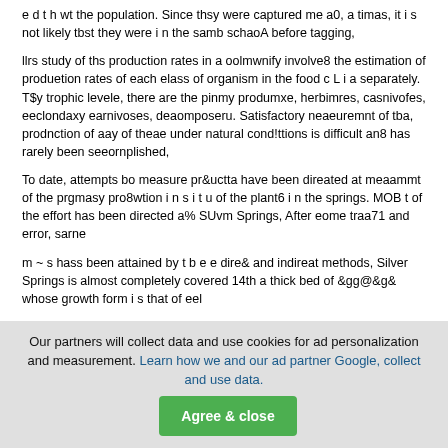e d t h wt the population. Since thsy were captured me a0, a timas, it i s not likely tbst they were i n the samb schaoA before tagging,
llrs study of ths production rates in a oolmwnify involve8 the estimation of produetion rates of each elass of organism in the food c L i a separately. T$y trophic levele, there are the pinmy produmxe, herbimres, casnivofes, eeclondaxy earnivoses, deaomposeru. Satisfactory neaeuremnt of tba, prodnction of aay of theae under natural cond!ttions is difficult an8 has rarely been seeornplished,
To date, attempts bo measure pr&uctta have been direated at meaammt of the prgmasy pro8wtion i n s i t u of the plant6 i n the springs. MOB t of the effort has been directed a% SUvm Springs, After eome traa71 and error, sarne
m ~ s hass been attained by t b e e dire& and indireat methods, Silver Springs is almost completely covered 14th a thick bed of &gg@&g& whose growth form i s that of eel
Our partners will collect data and use cookies for ad personalization and measurement. Learn how we and our ad partner Google, collect and use data.   Agree & close